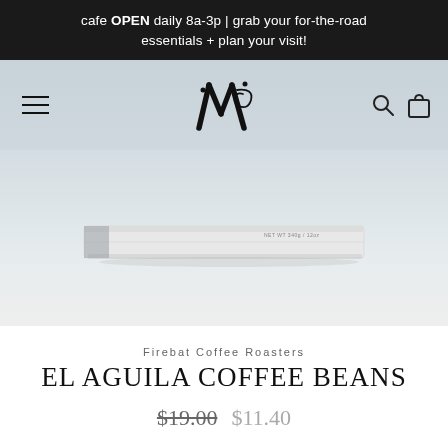cafe OPEN daily 8a-3p | grab your for-the-road essentials + plan your visit!
[Figure (screenshot): Website navigation bar with hamburger menu on left, decorative monogram logo in center on light blue-grey background, search and bag icons on right]
[Figure (photo): Flat white coffee bag with small text reading NET WT 340g / 12oz, lying horizontally on a light grey gradient background]
Firebat Coffee Roasters
EL AGUILA COFFEE BEANS
$19.00  $11.40